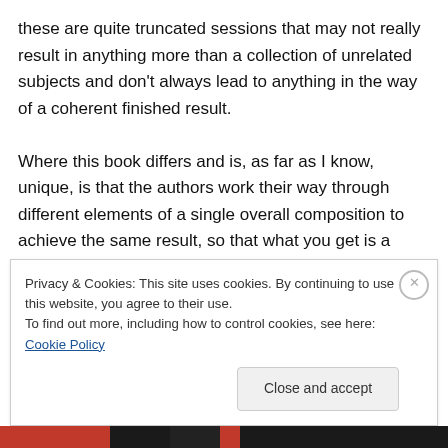these are quite truncated sessions that may not really result in anything more than a collection of unrelated subjects and don't always lead to anything in the way of a coherent finished result.

Where this book differs and is, as far as I know, unique, is that the authors work their way through different elements of a single overall composition to achieve the same result, so that what you get is a much more complete work of art at the end of it and a much better idea of whether what you've learned has been worthwhile. All this, of course,
Privacy & Cookies: This site uses cookies. By continuing to use this website, you agree to their use.
To find out more, including how to control cookies, see here: Cookie Policy
Close and accept